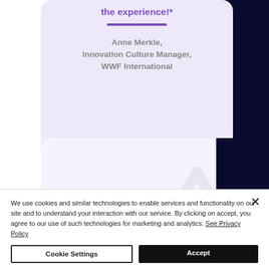the experience!*
Anne Merkle, Innovation Culture Manager, WWF International
[Figure (illustration): Light purple testimonial card with purple divider line and attribution text. Below it, a second light card with a faint watermark arrow. Dark navy panel on the right side.]
We use cookies and similar technologies to enable services and functionality on our site and to understand your interaction with our service. By clicking on accept, you agree to our use of such technologies for marketing and analytics. See Privacy Policy